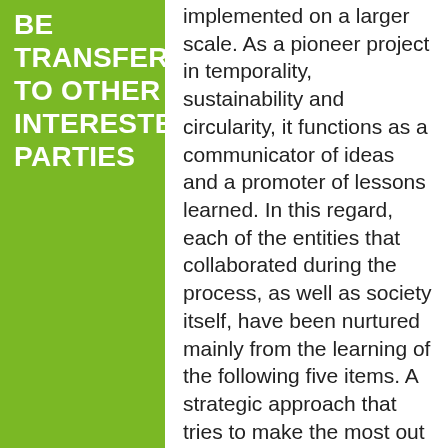BE TRANSFERRED TO OTHER INTERESTED PARTIES
implemented on a larger scale. As a pioneer project in temporality, sustainability and circularity, it functions as a communicator of ideas and a promoter of lessons learned. In this regard, each of the entities that collaborated during the process, as well as society itself, have been nurtured mainly from the learning of the following five items. A strategic approach that tries to make the most out of the